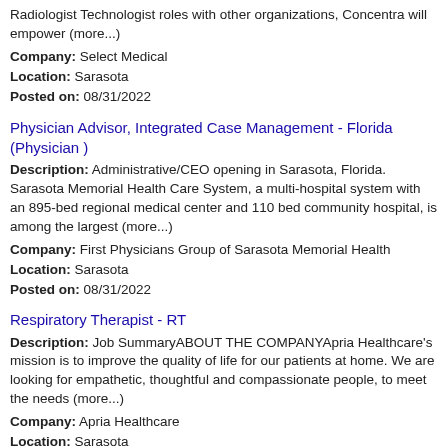Radiologist Technologist roles with other organizations, Concentra will empower (more...)
Company: Select Medical
Location: Sarasota
Posted on: 08/31/2022
Physician Advisor, Integrated Case Management - Florida (Physician )
Description: Administrative/CEO opening in Sarasota, Florida. Sarasota Memorial Health Care System, a multi-hospital system with an 895-bed regional medical center and 110 bed community hospital, is among the largest (more...)
Company: First Physicians Group of Sarasota Memorial Health
Location: Sarasota
Posted on: 08/31/2022
Respiratory Therapist - RT
Description: Job SummaryABOUT THE COMPANYApria Healthcare's mission is to improve the quality of life for our patients at home. We are looking for empathetic, thoughtful and compassionate people, to meet the needs (more...)
Company: Apria Healthcare
Location: Sarasota
Posted on: 08/31/2022